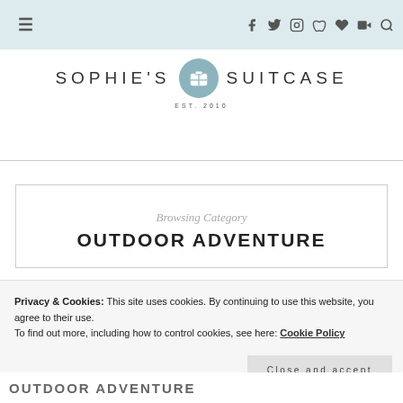≡  f  t  [instagram]  [pinterest]  [heart]  [youtube]  [search]
[Figure (logo): Sophie's Suitcase logo with suitcase icon and EST. 2010 text]
Browsing Category
OUTDOOR ADVENTURE
Privacy & Cookies: This site uses cookies. By continuing to use this website, you agree to their use.
To find out more, including how to control cookies, see here: Cookie Policy
Close and accept
OUTDOOR ADVENTURE